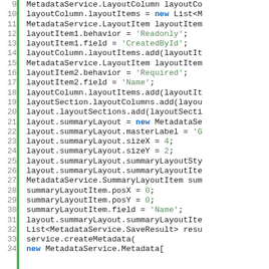[Figure (screenshot): Code snippet showing Apex/Java-like code for MetadataService layout configuration, lines 9-34. Lines are numbered with a green vertical bar on the left. Code includes keywords 'new' in blue, string literals in green such as 'Readonly', 'CreatedById', 'Required', 'Name', 'G', and numeric literals 4, 2, 0 in green.]